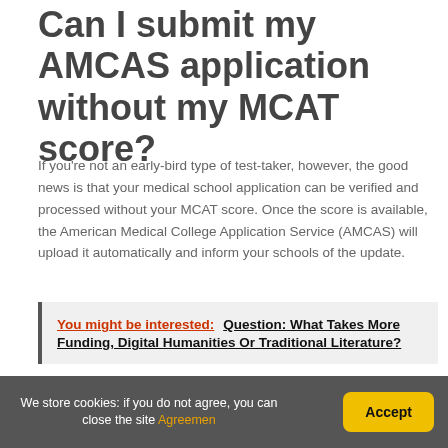Can I submit my AMCAS application without my MCAT score?
If you're not an early-bird type of test-taker, however, the good news is that your medical school application can be verified and processed without your MCAT score. Once the score is available, the American Medical College Application Service (AMCAS) will upload it automatically and inform your schools of the update.
You might be interested: Question: What Takes More Funding, Digital Humanities Or Traditional Literature?
We store cookies: if you do not agree, you can close the site Agreemen